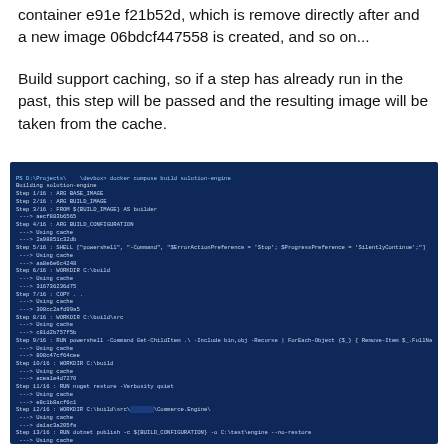container e91e f21b52d, which is remove directly after and a new image 06bdcf447558 is created, and so on...
Build support caching, so if a step has already run in the past, this step will be passed and the resulting image will be taken from the cache.
[Figure (screenshot): Terminal/command prompt window with dark navy blue background showing Docker Compose build output. Multiple steps (1/16 through 16/16) are shown with cache hits ('Using cache') and SHA hash values for each layer.]